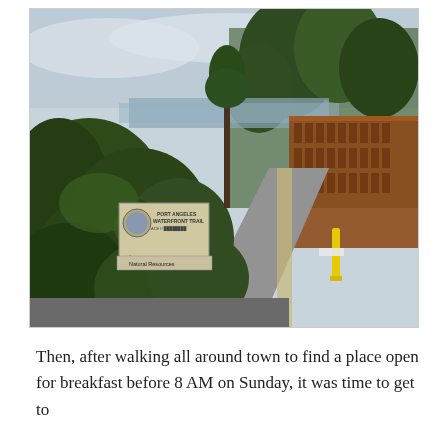[Figure (photo): Outdoor photo of the Port Angeles Waterfront Trail. A paved path leads into the distance flanked by lush green shrubs and trees on the left and a long building with arched red/brown facade on the right. A sign reading 'PORT ANGELES WATERFRONT TRAIL' and 'Natural Resources' is visible in the foreground among the bushes. A yellow bollard stands on the right side of the path. Overcast sky in the background.]
Then, after walking all around town to find a place open for breakfast before 8 AM on Sunday, it was time to get to